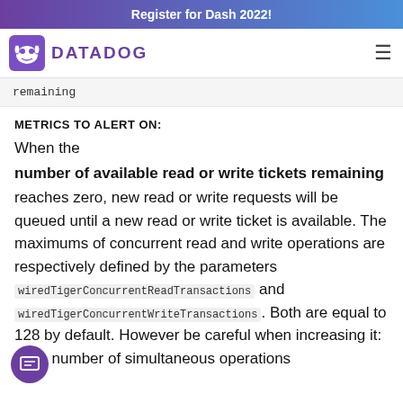Register for Dash 2022!
[Figure (logo): Datadog logo with dog icon and purple DATADOG wordmark]
remaining
METRICS TO ALERT ON:
When the number of available read or write tickets remaining reaches zero, new read or write requests will be queued until a new read or write ticket is available. The maximums of concurrent read and write operations are respectively defined by the parameters wiredTigerConcurrentReadTransactions and wiredTigerConcurrentWriteTransactions. Both are equal to 128 by default. However be careful when increasing it: if the number of simultaneous operations